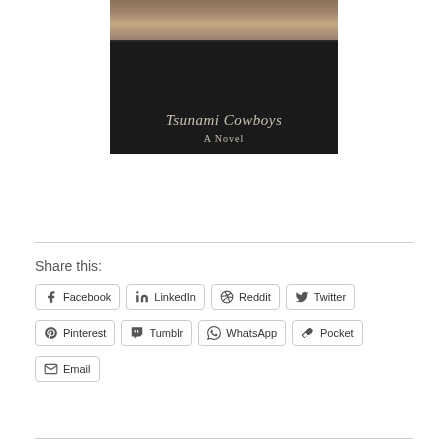[Figure (illustration): Book cover of 'Tsunami Cowboys - A Novel' with dark background and a banner/image strip at the top showing a reddish-brown landscape]
Share this:
Facebook
LinkedIn
Reddit
Twitter
Pinterest
Tumblr
WhatsApp
Pocket
Email